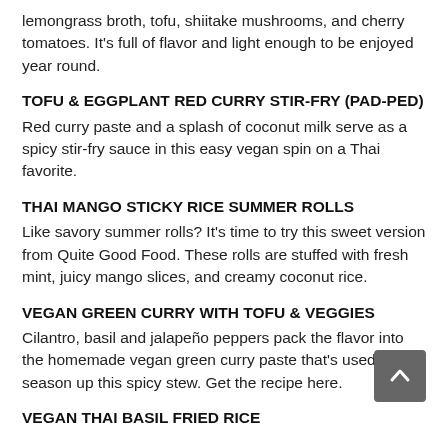lemongrass broth, tofu, shiitake mushrooms, and cherry tomatoes. It's full of flavor and light enough to be enjoyed year round.
TOFU & EGGPLANT RED CURRY STIR-FRY (PAD-PED)
Red curry paste and a splash of coconut milk serve as a spicy stir-fry sauce in this easy vegan spin on a Thai favorite.
THAI MANGO STICKY RICE SUMMER ROLLS
Like savory summer rolls? It's time to try this sweet version from Quite Good Food. These rolls are stuffed with fresh mint, juicy mango slices, and creamy coconut rice.
VEGAN GREEN CURRY WITH TOFU & VEGGIES
Cilantro, basil and jalapeño peppers pack the flavor into the homemade vegan green curry paste that's used to season up this spicy stew. Get the recipe here.
VEGAN THAI BASIL FRIED RICE